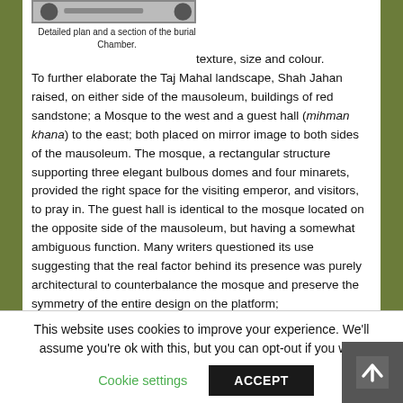[Figure (other): Partial image of a detailed plan and section of the burial chamber (top portion visible, cropped)]
Detailed plan and a section of the burial Chamber.
texture, size and colour.

To further elaborate the Taj Mahal landscape, Shah Jahan raised, on either side of the mausoleum, buildings of red sandstone; a Mosque to the west and a guest hall (mihman khana) to the east; both placed on mirror image to both sides of the mausoleum. The mosque, a rectangular structure supporting three elegant bulbous domes and four minarets, provided the right space for the visiting emperor, and visitors, to pray in. The guest hall is identical to the mosque located on the opposite side of the mausoleum, but having a somewhat  ambiguous function. Many writers questioned its use suggesting that the real factor behind its presence was purely architectural to counterbalance the mosque and preserve the symmetry of the entire design on the platform;
The mosques, built only to balance the composition are set
This website uses cookies to improve your experience. We'll assume you're ok with this, but you can opt-out if you wish. Cookie settings  ACCEPT